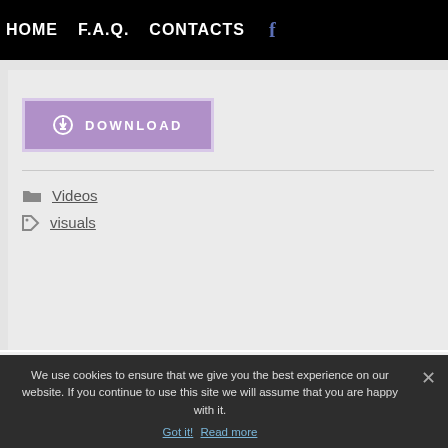HOME   F.A.Q.   CONTACTS   f
[Figure (screenshot): Download button — a purple button with download icon and label DOWNLOAD]
Videos
visuals
1   2   Next »
We use cookies to ensure that we give you the best experience on our website. If you continue to use this site we will assume that you are happy with it.
Got it!   Read more